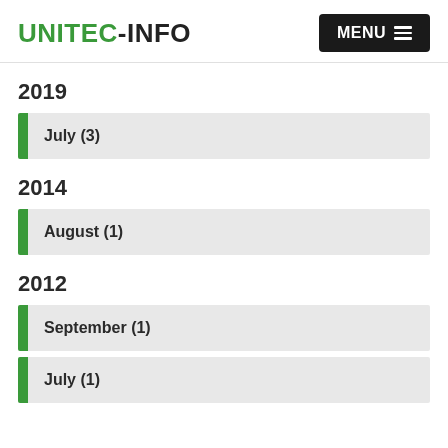UNITEC-INFO  MENU
2019
July (3)
2014
August (1)
2012
September (1)
July (1)